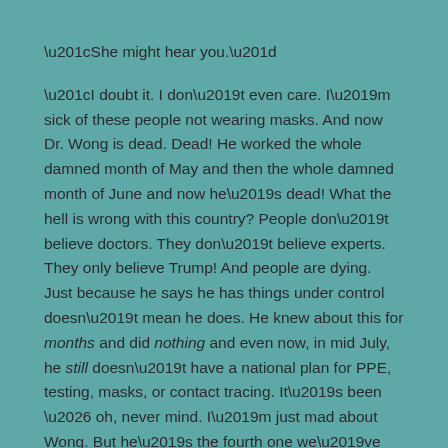“She might hear you.”
“I doubt it. I don’t even care. I’m sick of these people not wearing masks. And now Dr. Wong is dead. Dead! He worked the whole damned month of May and then the whole damned month of June and now he’s dead! What the hell is wrong with this country? People don’t believe doctors. They don’t believe experts. They only believe Trump! And people are dying. Just because he says he has things under control doesn’t mean he does. He knew about this for months and did nothing and even now, in mid July, he still doesn’t have a national plan for PPE, testing, masks, or contact tracing. It’s been … oh, never mind. I’m just mad about Wong. But he’s the fourth one we’ve lost from this hospital. Who’s next? You? Me? Anyway, who’s next on our list?”